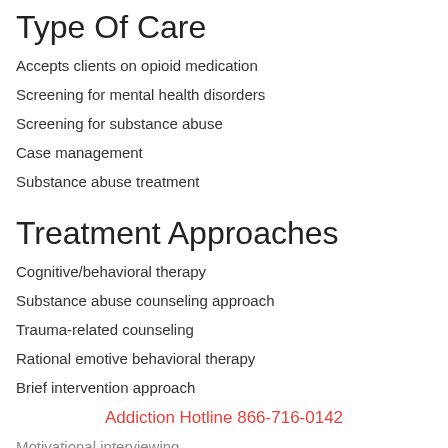Type Of Care
Accepts clients on opioid medication
Screening for mental health disorders
Screening for substance abuse
Case management
Substance abuse treatment
Treatment Approaches
Cognitive/behavioral therapy
Substance abuse counseling approach
Trauma-related counseling
Rational emotive behavioral therapy
Brief intervention approach
Addiction Hotline 866-716-0142
Motivational interviewing